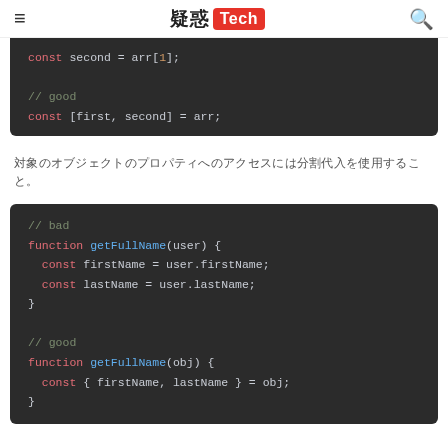≡  疑惑 Tech  🔍
[Figure (screenshot): Code block showing: const second = arr[1]; // good const [first, second] = arr;]
対象のオブジェクトのプロパティへのアクセスには分割代入を使用すること。
[Figure (screenshot): Code block showing: // bad function getFullName(user) { const firstName = user.firstName; const lastName = user.lastName; } // good function getFullName(obj) { const { firstName, lastName } = obj; } // ...]